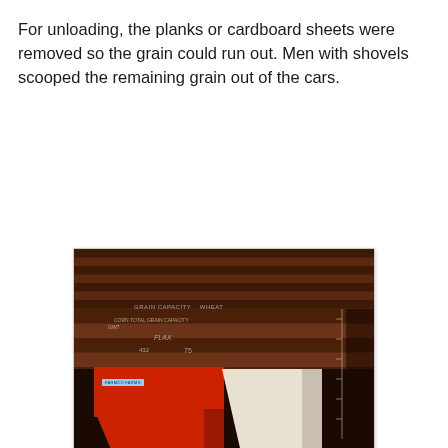For unloading, the planks or cardboard sheets were removed so the grain could run out. Men with shovels scooped the remaining grain out of the cars.
[Figure (photo): Interior photograph of a grain railway car showing dark wooden plank walls with chalk markings indicating grain capacity measurements. A red grain hopper or loading box is visible in the lower left corner of the car interior.]